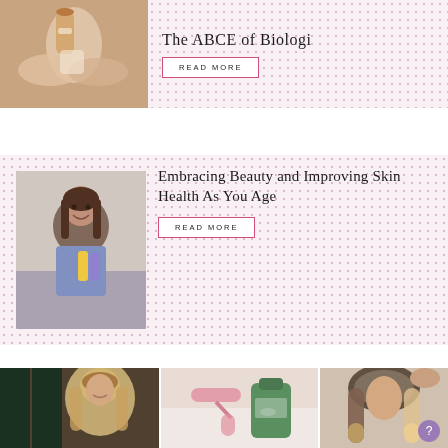[Figure (photo): Hands holding a brown glass dropper bottle with a label]
The ABCE of Biologi
READ MORE
[Figure (photo): Smiling woman holding skincare product tubes in yellow and purple]
Embracing Beauty and Improving Skin Health As You Age
READ MORE
[Figure (photo): Woman with curly blonde hair in front of green wall]
[Figure (photo): Rose quartz facial roller next to green skincare product bottle]
[Figure (photo): Woman with brunette ombre wavy hair]